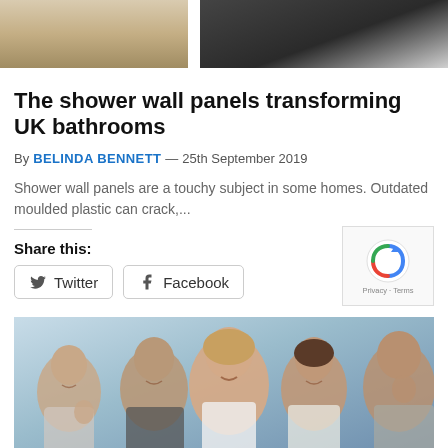[Figure (photo): Top cropped image strip showing bathroom panels — left side shows wood-grain shelf/panel, right side shows dark grey and white panels]
The shower wall panels transforming UK bathrooms
By BELINDA BENNETT — 25th September 2019
Shower wall panels are a touchy subject in some homes. Outdated moulded plastic can crack,...
Share this:
[Figure (screenshot): reCAPTCHA widget showing Privacy - Terms text]
[Figure (photo): Group of smiling young people celebrating with fists raised, indoor office background]